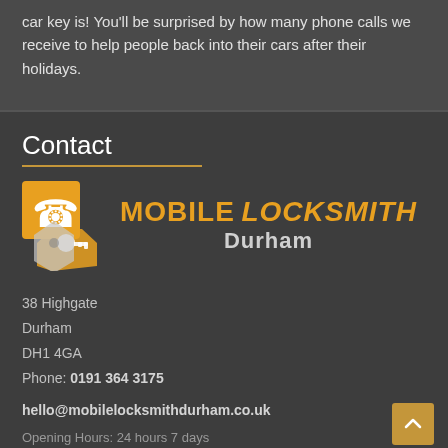car key is! You'll be surprised by how many phone calls we receive to help people back into their cars after their holidays.
Contact
[Figure (logo): Mobile Locksmith Durham logo with orange phone and key icon on left, text MOBILE LOCKSMITH Durham on right]
38 Highgate
Durham
DH1 4GA
Phone: 0191 364 3175
hello@mobilelocksmithdurham.co.uk
Opening Hours: 24 hours 7 days